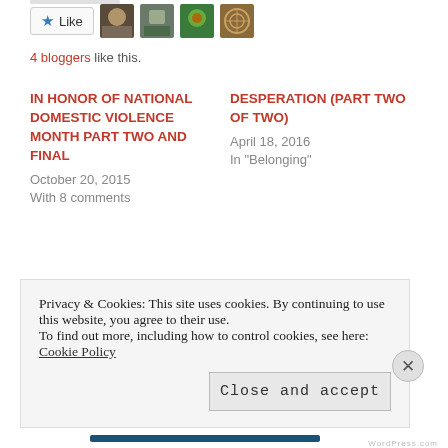[Figure (other): Like button with blue star and 4 blogger avatar thumbnails]
4 bloggers like this.
IN HONOR OF NATIONAL DOMESTIC VIOLENCE MONTH PART TWO AND FINAL
October 20, 2015
With 8 comments
DESPERATION (Part Two of Two)
April 18, 2016
In "Belonging"
IN HONOR OF NATIONAL DOMESTIC VIOLENCE MONTH PART ONE
October 20, 2015
Privacy & Cookies: This site uses cookies. By continuing to use this website, you agree to their use.
To find out more, including how to control cookies, see here: Cookie Policy
Close and accept